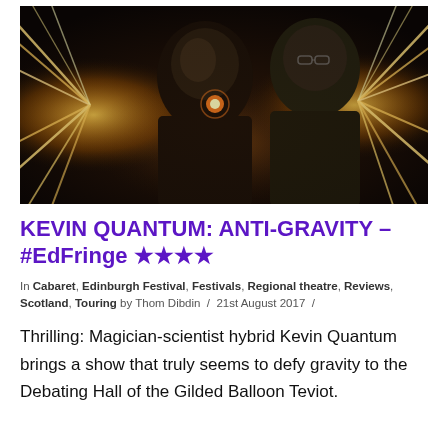[Figure (photo): Dark theatrical promotional photo of two men (Kevin Quantum and another person) with dramatic golden light streaks radiating from behind them against a dark background]
KEVIN QUANTUM: ANTI-GRAVITY – #EdFringe ★★★★
In Cabaret, Edinburgh Festival, Festivals, Regional theatre, Reviews, Scotland, Touring by Thom Dibdin / 21st August 2017 /
Thrilling: Magician-scientist hybrid Kevin Quantum brings a show that truly seems to defy gravity to the Debating Hall of the Gilded Balloon Teviot.